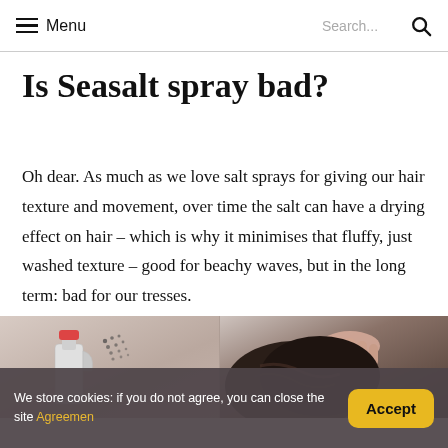Menu  Search...
Is Seasalt spray bad?
Oh dear. As much as we love salt sprays for giving our hair texture and movement, over time the salt can have a drying effect on hair – which is why it minimises that fluffy, just washed texture – good for beachy waves, but in the long term: bad for our tresses.
[Figure (photo): Two photos side by side: left shows a hand holding a red-capped spray bottle with spray droplets visible; right shows a person's hand touching dark hair.]
We store cookies: if you do not agree, you can close the site Agreemen  Accept